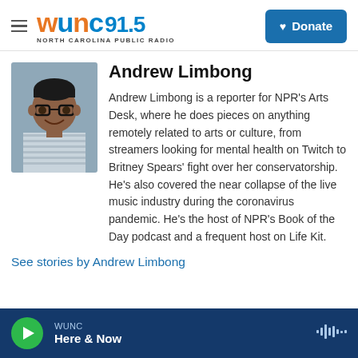WUNC 91.5 NORTH CAROLINA PUBLIC RADIO | Donate
[Figure (photo): Headshot photo of Andrew Limbong, a young man with glasses and a striped shirt, smiling against a blue background]
Andrew Limbong
Andrew Limbong is a reporter for NPR's Arts Desk, where he does pieces on anything remotely related to arts or culture, from streamers looking for mental health on Twitch to Britney Spears' fight over her conservatorship. He's also covered the near collapse of the live music industry during the coronavirus pandemic. He's the host of NPR's Book of the Day podcast and a frequent host on Life Kit.
See stories by Andrew Limbong
WUNC | Here & Now